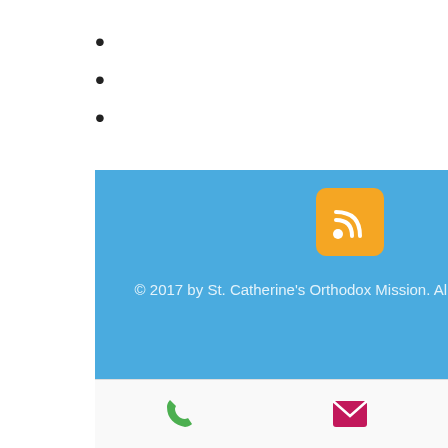•
•
•
[Figure (infographic): Blue background footer section with orange RSS icon and copyright text: © 2017 by St. Catherine's Orthodox Mission. All Rights Reserved]
© 2017 by St. Catherine's Orthodox Mission. All Rights Reserved
[Figure (infographic): Bottom mobile navigation bar with green phone icon, pink/red email envelope icon, and blue Facebook icon]